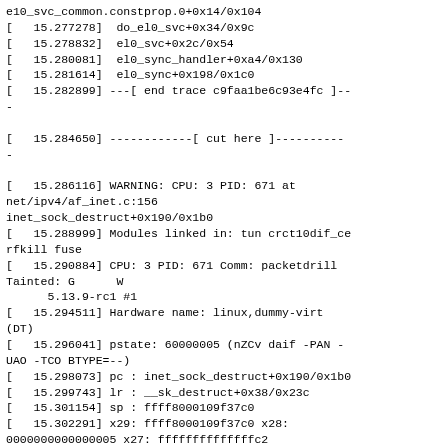e10_svc_common.constprop.0+0x14/0x104
[   15.277278]  do_el0_svc+0x34/0x9c
[   15.278832]  el0_svc+0x2c/0x54
[   15.280081]  el0_sync_handler+0xa4/0x130
[   15.281614]  el0_sync+0x198/0x1c0
[   15.282899] ---[ end trace c9faa1be6c93e4fc ]---
-

[   15.284650] ------------[ cut here ]----------
-

[   15.286116] WARNING: CPU: 3 PID: 671 at net/ipv4/af_inet.c:156
inet_sock_destruct+0x190/0x1b0
[   15.288999] Modules linked in: tun crct10dif_ce rfkill fuse
[   15.290884] CPU: 3 PID: 671 Comm: packetdrill Tainted: G      W           5.13.9-rc1 #1
[   15.294511] Hardware name: linux,dummy-virt (DT)
[   15.296041] pstate: 60000005 (nZCv daif -PAN -UAO -TCO BTYPE=--)
[   15.298073] pc : inet_sock_destruct+0x190/0x1b0
[   15.299743] lr : __sk_destruct+0x38/0x23c
[   15.301154] sp : ffff8000109f37c0
[   15.302291] x29: ffff8000109f37c0 x28: 0000000000000005 x27: ffffffffffffffc2
[   15.304703] x26: 0000000000000001 x25: ffffa05141000900 x24: ffffa05142a8be80
[   15.307100] x23: 0000000000000000 x22: ffff6f1e08a0dd08 x21: ffff6f1e08a0dc80
[   15.309419] x20: ffff6f1e08a0dd30 x19: